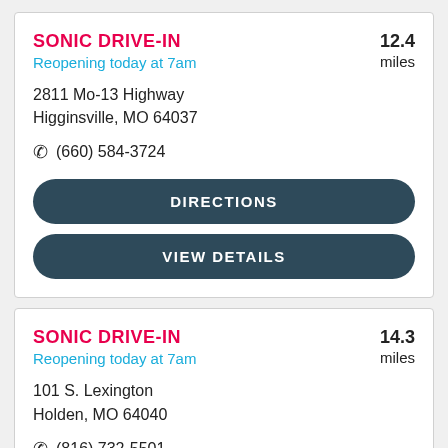SONIC DRIVE-IN
Reopening today at 7am
12.4 miles
2811 Mo-13 Highway
Higginsville, MO 64037
(660) 584-3724
DIRECTIONS
VIEW DETAILS
SONIC DRIVE-IN
Reopening today at 7am
14.3 miles
101 S. Lexington
Holden, MO 64040
(816) 732-5501